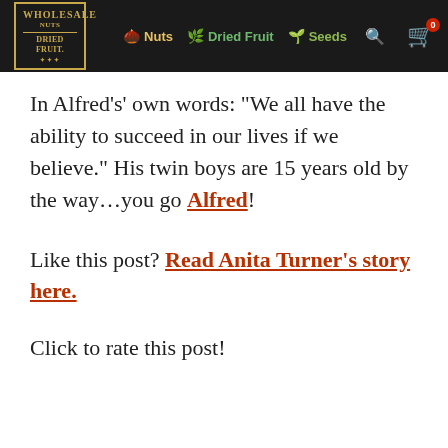Wholesale Nuts Dried Fruit — Nuts | Dried Fruit | Seeds
In Alfred’s’ own words: “We all have the ability to succeed in our lives if we believe.” His twin boys are 15 years old by the way…you go Alfred!
Like this post? Read Anita Turner’s story here.
Click to rate this post!